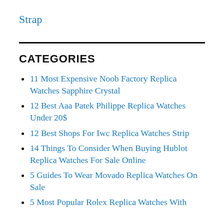Strap
CATEGORIES
11 Most Expensive Noob Factory Replica Watches Sapphire Crystal
12 Best Aaa Patek Philippe Replica Watches Under 20$
12 Best Shops For Iwc Replica Watches Strip
14 Things To Consider When Buying Hublot Replica Watches For Sale Online
5 Guides To Wear Movado Replica Watches On Sale
5 Most Popular Rolex Replica Watches With